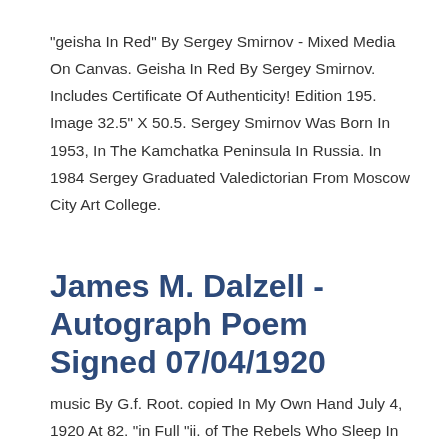"geisha In Red" By Sergey Smirnov - Mixed Media On Canvas. Geisha In Red By Sergey Smirnov. Includes Certificate Of Authenticity! Edition 195. Image 32.5" X 50.5. Sergey Smirnov Was Born In 1953, In The Kamchatka Peninsula In Russia. In 1984 Sergey Graduated Valedictorian From Moscow City Art College.
James M. Dalzell - Autograph Poem Signed 07/04/1920
music By G.f. Root. copied In My Own Hand July 4, 1920 At 82. "in Full "ii. of The Rebels Who Sleep In